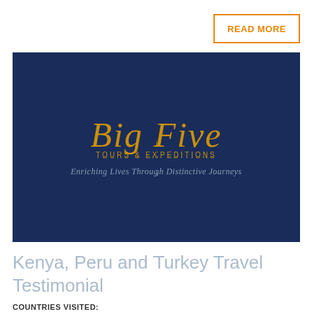READ MORE
[Figure (logo): Big Five Tours & Expeditions logo on dark navy blue background. Gold/amber script text reading 'Big Five' with 'TOURS & EXPEDITIONS' underneath in gold uppercase letters, and tagline 'Enriching Lives Through Distinctive Journeys' in silver italic text below.]
Kenya, Peru and Turkey Travel Testimonial
COUNTRIES VISITED: